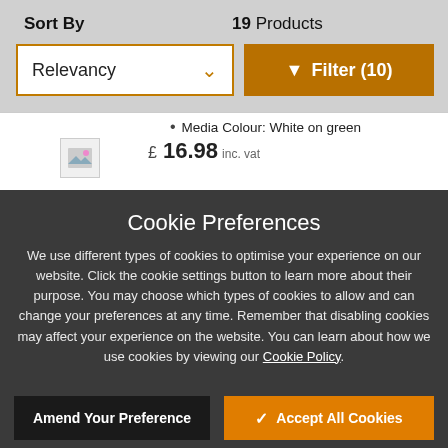Sort By
19 Products
Relevancy
▼ Filter (10)
Media Colour: White on green
£ 16.98 inc. vat
Cookie Preferences
We use different types of cookies to optimise your experience on our website. Click the cookie settings button to learn more about their purpose. You may choose which types of cookies to allow and can change your preferences at any time. Remember that disabling cookies may affect your experience on the website. You can learn about how we use cookies by viewing our Cookie Policy.
Amend Your Preference
✓ Accept All Cookies